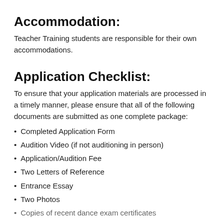Accommodation:
Teacher Training students are responsible for their own accommodations.
Application Checklist:
To ensure that your application materials are processed in a timely manner, please ensure that all of the following documents are submitted as one complete package:
Completed Application Form
Audition Video (if not auditioning in person)
Application/Audition Fee
Two Letters of Reference
Entrance Essay
Two Photos
Copies of recent dance exam certificates